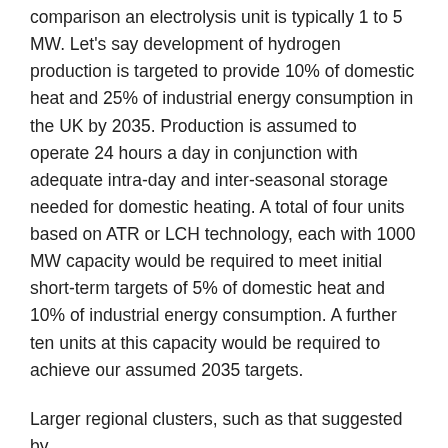comparison an electrolysis unit is typically 1 to 5 MW. Let's say development of hydrogen production is targeted to provide 10% of domestic heat and 25% of industrial energy consumption in the UK by 2035. Production is assumed to operate 24 hours a day in conjunction with adequate intra-day and inter-seasonal storage needed for domestic heating. A total of four units based on ATR or LCH technology, each with 1000 MW capacity would be required to meet initial short-term targets of 5% of domestic heat and 10% of industrial energy consumption. A further ten units at this capacity would be required to achieve our assumed 2035 targets.
Larger regional clusters, such as that suggested by